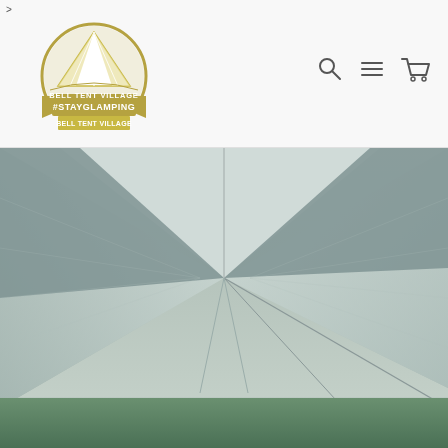>
[Figure (logo): Bell Tent Village logo with gold circular badge, tent icon, and text BELL TENT VILLAGE #STAYGLAMPING]
[Figure (photo): Interior view of a white bell tent showing the canvas roof panels meeting at the center pole, with green grass visible at the bottom edge]
[Figure (other): Navigation icons: search magnifying glass, hamburger menu, shopping cart]